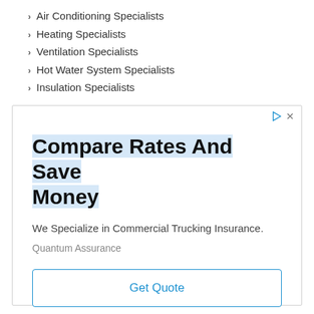Air Conditioning Specialists
Heating Specialists
Ventilation Specialists
Hot Water System Specialists
Insulation Specialists
[Figure (other): Advertisement box with title 'Compare Rates And Save Money', subtitle 'We Specialize in Commercial Trucking Insurance.', brand 'Quantum Assurance', and a 'Get Quote' button with a blue border.]